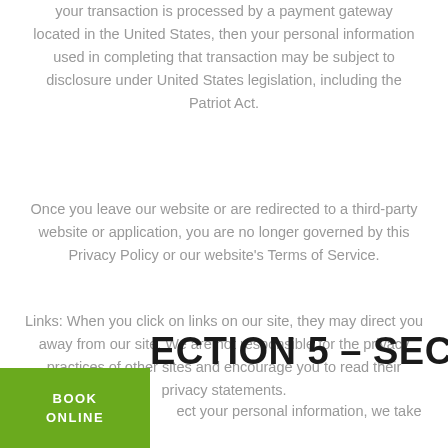your transaction is processed by a payment gateway located in the United States, then your personal information used in completing that transaction may be subject to disclosure under United States legislation, including the Patriot Act.
Once you leave our website or are redirected to a third-party website or application, you are no longer governed by this Privacy Policy or our website's Terms of Service.
Links: When you click on links on our site, they may direct you away from our site. We are not responsible for the privacy practices of other sites and encourage you to read their privacy statements.
SECTION 5 – SECURITY
ect your personal information, we take
[Figure (other): Green button with text BOOK ONLINE]